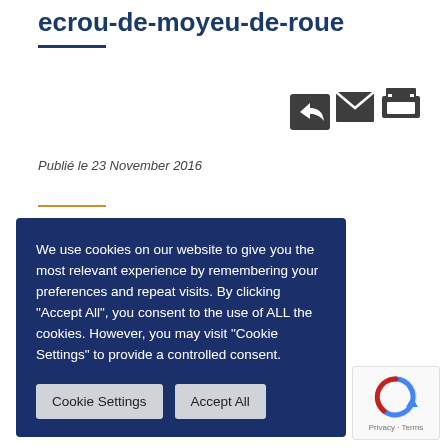ecrou-de-moyeu-de-roue
Publié le 23 November 2016
We use cookies on our website to give you the most relevant experience by remembering your preferences and repeat visits. By clicking "Accept All", you consent to the use of ALL the cookies. However, you may visit "Cookie Settings" to provide a controlled consent.